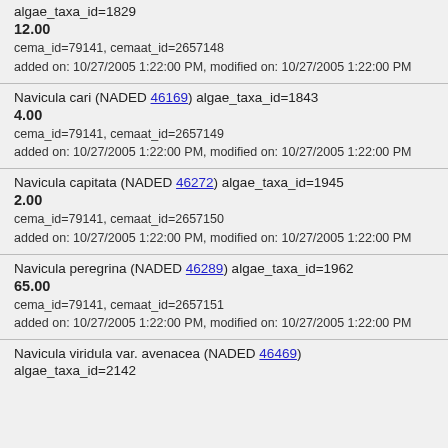algae_taxa_id=1829
12.00
cema_id=79141, cemaat_id=2657148
added on: 10/27/2005 1:22:00 PM, modified on: 10/27/2005 1:22:00 PM
Navicula cari (NADED 46169) algae_taxa_id=1843
4.00
cema_id=79141, cemaat_id=2657149
added on: 10/27/2005 1:22:00 PM, modified on: 10/27/2005 1:22:00 PM
Navicula capitata (NADED 46272) algae_taxa_id=1945
2.00
cema_id=79141, cemaat_id=2657150
added on: 10/27/2005 1:22:00 PM, modified on: 10/27/2005 1:22:00 PM
Navicula peregrina (NADED 46289) algae_taxa_id=1962
65.00
cema_id=79141, cemaat_id=2657151
added on: 10/27/2005 1:22:00 PM, modified on: 10/27/2005 1:22:00 PM
Navicula viridula var. avenacea (NADED 46469) algae_taxa_id=2142